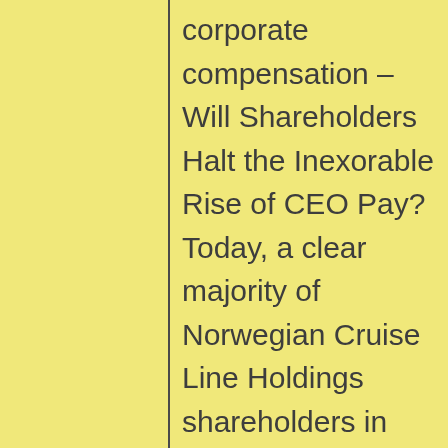corporate compensation – Will Shareholders Halt the Inexorable Rise of CEO Pay? Today, a clear majority of Norwegian Cruise Line Holdings shareholders in